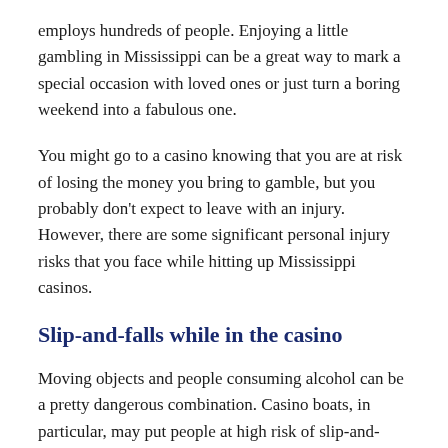employs hundreds of people. Enjoying a little gambling in Mississippi can be a great way to mark a special occasion with loved ones or just turn a boring weekend into a fabulous one.
You might go to a casino knowing that you are at risk of losing the money you bring to gamble, but you probably don't expect to leave with an injury. However, there are some significant personal injury risks that you face while hitting up Mississippi casinos.
Slip-and-falls while in the casino
Moving objects and people consuming alcohol can be a pretty dangerous combination. Casino boats, in particular, may put people at high risk of slip-and-falls. Especially if there aren't enough staff members to keep the floors clean, a so-called slip-and-fall becomes more likely, behind